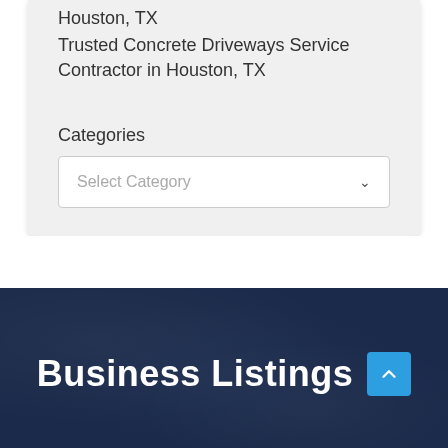Houston, TX
Trusted Concrete Driveways Service Contractor in Houston, TX
Categories
Select Category
Business Listings